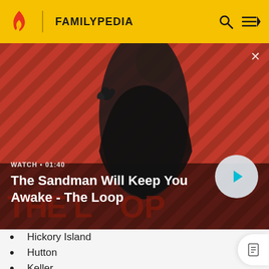FAMILYPEDIA
[Figure (screenshot): Video banner showing 'The Sandman Will Keep You Awake - The Loop' with a dark-cloaked man holding a raven against a red/black striped background. Overlaid text: WATCH · 01:40. Play button on right.]
Hickory Island
Hutton
Keller
Larimer Hill
Lewis